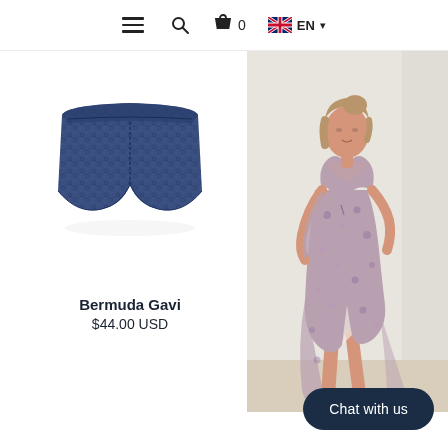Menu | Search | Cart 0 | EN
[Figure (photo): Blue navy quilted/patterned bermuda shorts product photo on white background]
Bermuda Gavi
$44.00 USD
[Figure (photo): Woman in floral long dress with deep V-neck and side slit, leaning against a white wall, barefoot]
Chat with us